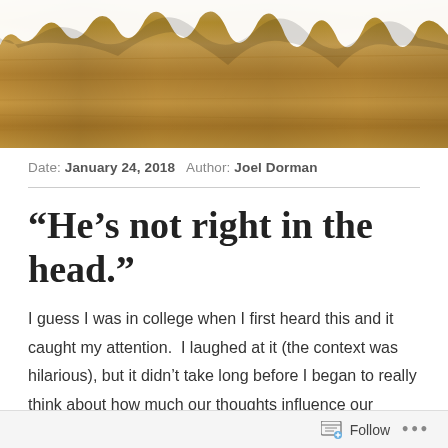[Figure (photo): Header image showing a wood grain texture background with torn white paper effect at the top]
Date: January 24, 2018   Author: Joel Dorman
“He’s not right in the head.”
I guess I was in college when I first heard this and it caught my attention.  I laughed at it (the context was hilarious), but it didn’t take long before I began to really think about how much our thoughts influence our behavior towards life.
Follow ...